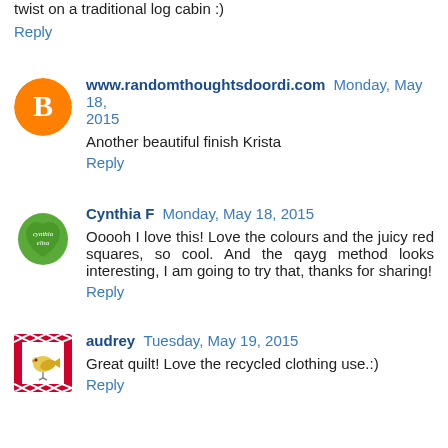twist on a traditional log cabin :)
Reply
www.randomthoughtsdoordi.com Monday, May 18, 2015
Another beautiful finish Krista
Reply
Cynthia F Monday, May 18, 2015
Ooooh I love this! Love the colours and the juicy red squares, so cool. And the qayg method looks interesting, I am going to try that, thanks for sharing!
Reply
audrey Tuesday, May 19, 2015
Great quilt! Love the recycled clothing use.:)
Reply